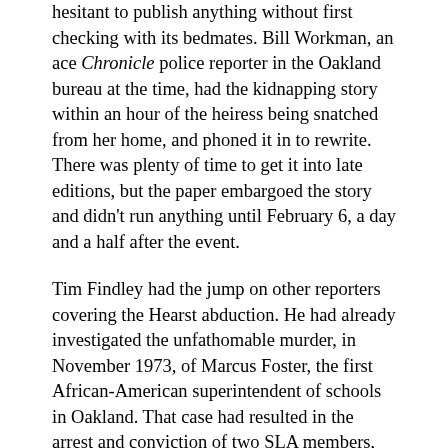hesitant to publish anything without first checking with its bedmates. Bill Workman, an ace Chronicle police reporter in the Oakland bureau at the time, had the kidnapping story within an hour of the heiress being snatched from her home, and phoned it in to rewrite. There was plenty of time to get it into late editions, but the paper embargoed the story and didn't run anything until February 6, a day and a half after the event.
Tim Findley had the jump on other reporters covering the Hearst abduction. He had already investigated the unfathomable murder, in November 1973, of Marcus Foster, the first African-American superintendent of schools in Oakland. That case had resulted in the arrest and conviction of two SLA members, Joseph Remiro and Russell Little. (Little's conviction was overturned on appeal and he was acquitted in a retrial.) It was Findley who figured out that the SLA was headed by one Donald DeFreeze, an escaped convict who had been doing a stretch for armed